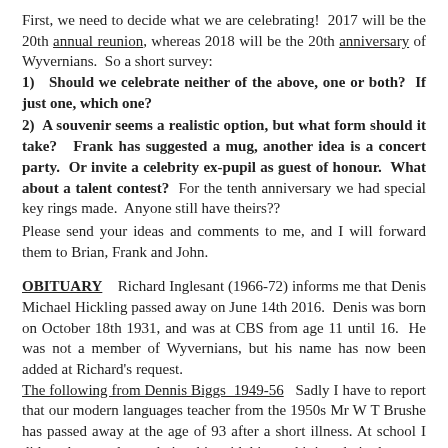First, we need to decide what we are celebrating!  2017 will be the 20th annual reunion, whereas 2018 will be the 20th anniversary of Wyvernians.  So a short survey:
1)   Should we celebrate neither of the above, one or both?  If just one, which one?
2)  A souvenir seems a realistic option, but what form should it take?   Frank has suggested a mug, another idea is a concert party.  Or invite a celebrity ex-pupil as guest of honour.  What about a talent contest?  For the tenth anniversary we had special key rings made.  Anyone still have theirs??
Please send your ideas and comments to me, and I will forward them to Brian, Frank and John.
OBITUARY
Richard Inglesant (1966-72) informs me that Denis Michael Hickling passed away on June 14th 2016.  Denis was born on October 18th 1931, and was at CBS from age 11 until 16.  He was not a member of Wyvernians, but his name has now been added at Richard's request.
The following from Dennis Biggs  1949-56  Sadly I have to report that our modern languages teacher from the 1950s Mr W T Brushe has passed away at the age of 93 after a short illness. At school I did not have a close relationship with him and it is only in the past